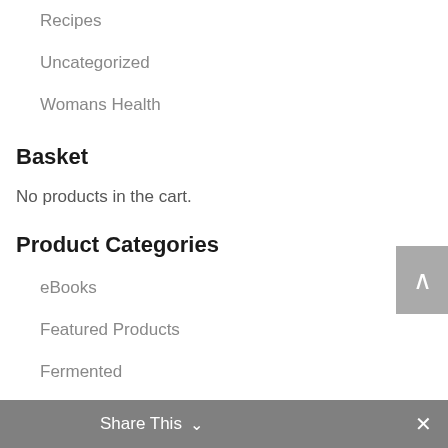Recipes
Uncategorized
Womans Health
Basket
No products in the cart.
Product Categories
eBooks
Featured Products
Fermented
FFDetox
Nutritional Supplements
Protein Powder
Share This ∨  ✕